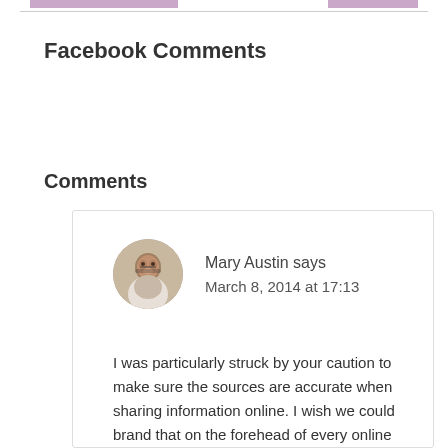Facebook Comments
Comments
[Figure (photo): Circular avatar photo of Mary Austin, an older woman with glasses]
Mary Austin says
March 8, 2014 at 17:13
I was particularly struck by your caution to make sure the sources are accurate when sharing information online. I wish we could brand that on the forehead of every online marketer. Too often I see people quoting and restating information without verifying it in any